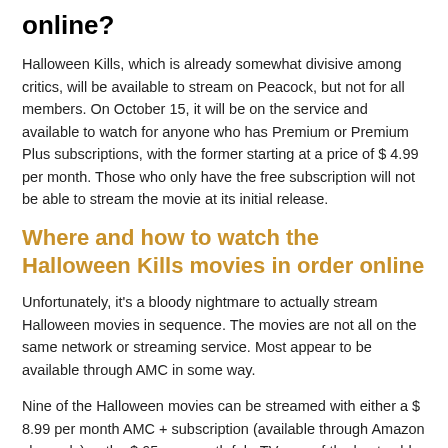online?
Halloween Kills, which is already somewhat divisive among critics, will be available to stream on Peacock, but not for all members. On October 15, it will be on the service and available to watch for anyone who has Premium or Premium Plus subscriptions, with the former starting at a price of $ 4.99 per month. Those who only have the free subscription will not be able to stream the movie at its initial release.
Where and how to watch the Halloween Kills movies in order online
Unfortunately, it's a bloody nightmare to actually stream Halloween movies in sequence. The movies are not all on the same network or streaming service. Most appear to be available through AMC in some way.
Nine of the Halloween movies can be streamed with either a $ 8.99 per month AMC + subscription (available through Amazon channels) or the $ 65 per month fuboTV, one of the best cable TV alternatives. But if AMC loses those movies, or fuboTV loses AMC, you're unhappy.